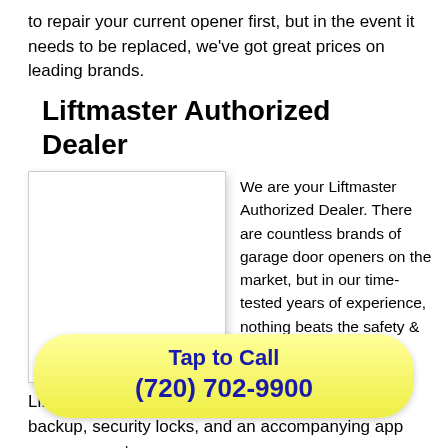to repair your current opener first, but in the event it needs to be replaced, we've got great prices on leading brands.
Liftmaster Authorized Dealer
[Figure (photo): White square image placeholder for Liftmaster product photo]
We are your Liftmaster Authorized Dealer. There are countless brands of garage door openers on the market, but in our time-tested years of experience, nothing beats the safety & reliability of a Liftmaster garage door opener.
Liftmaster offers handy features such as battery backup, security locks, and an accompanying app you can use to ope... worl... es in the industry.
Tap to Call
(720) 702-9900